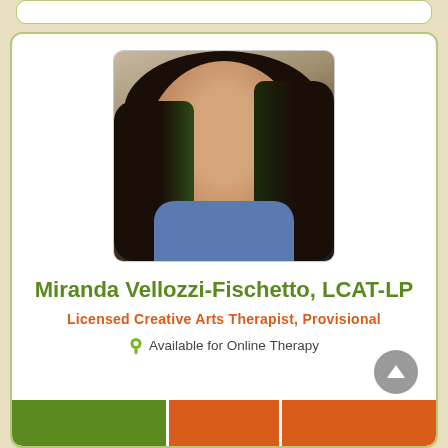[Figure (photo): Profile photo of Miranda Vellozzi-Fischetto, a woman with long dark wavy hair with green highlights, smiling, wearing a plaid jacket]
Miranda Vellozzi-Fischetto, LCAT-LP
Licensed Creative Arts Therapist, Provisional
Available for Online Therapy